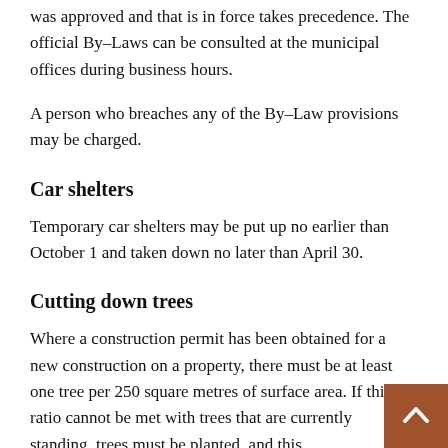was approved and that is in force takes precedence. The official By-Laws can be consulted at the municipal offices during business hours.
A person who breaches any of the By-Law provisions may be charged.
Car shelters
Temporary car shelters may be put up no earlier than October 1 and taken down no later than April 30.
Cutting down trees
Where a construction permit has been obtained for a new construction on a property, there must be at least one tree per 250 square metres of surface area. If this ratio cannot be met with trees that are currently standing, trees must be planted, and this